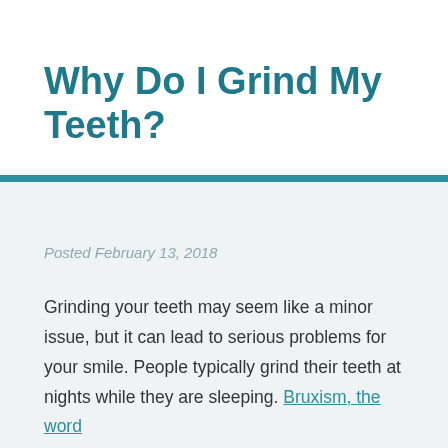Why Do I Grind My Teeth?
Posted February 13, 2018
Grinding your teeth may seem like a minor issue, but it can lead to serious problems for your smile. People typically grind their teeth at nights while they are sleeping. Bruxism, the word